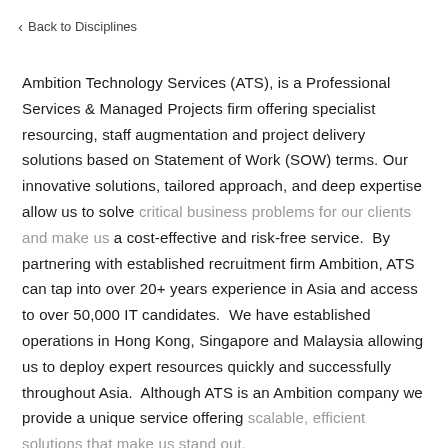< Back to Disciplines
Ambition Technology Services (ATS), is a Professional Services & Managed Projects firm offering specialist resourcing, staff augmentation and project delivery solutions based on Statement of Work (SOW) terms. Our innovative solutions, tailored approach, and deep expertise allow us to solve critical business problems for our clients and make us a cost-effective and risk-free service.  By partnering with established recruitment firm Ambition, ATS can tap into over 20+ years experience in Asia and access to over 50,000 IT candidates.  We have established operations in Hong Kong, Singapore and Malaysia allowing us to deploy expert resources quickly and successfully throughout Asia.  Although ATS is an Ambition company we provide a unique service offering scalable, efficient solutions that make us stand out.